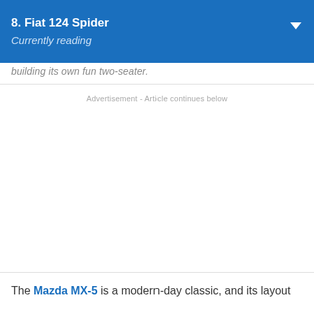8. Fiat 124 Spider
Currently reading
building its own fun two-seater.
Advertisement - Article continues below
The Mazda MX-5 is a modern-day classic, and its layout